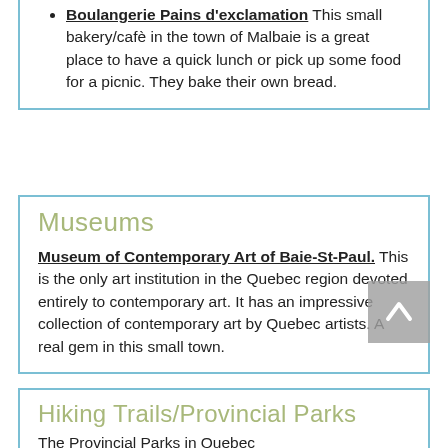Boulangerie Pains d'exclamation This small bakery/cafè in the town of Malbaie is a great place to have a quick lunch or pick up some food for a picnic. They bake their own bread.
Museums
Museum of Contemporary Art of Baie-St-Paul. This is the only art institution in the Quebec region devoted entirely to contemporary art. It has an impressive collection of contemporary art by Quebec artists. A real gem in this small town.
Hiking Trails/Provincial Parks
The Provincial Parks in Quebec